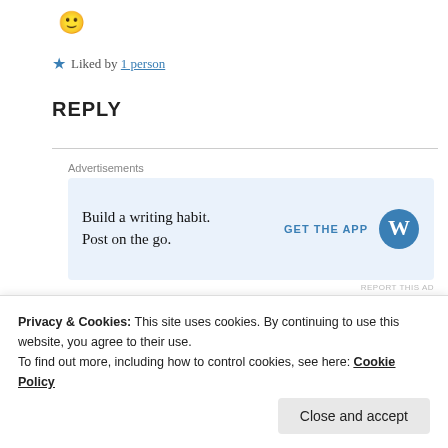[Figure (illustration): Yellow smiley face emoji]
★ Liked by 1 person
REPLY
[Figure (infographic): Advertisement: Build a writing habit. Post on the go. GET THE APP with WordPress logo]
KYLIECELINE| KYLIE'S CORNER &
Privacy & Cookies: This site uses cookies. By continuing to use this website, you agree to their use. To find out more, including how to control cookies, see here: Cookie Policy
Close and accept